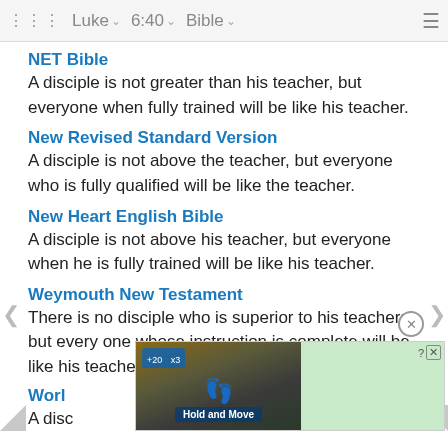Luke  6:40  Bible
NET Bible
A disciple is not greater than his teacher, but everyone when fully trained will be like his teacher.
New Revised Standard Version
A disciple is not above the teacher, but everyone who is fully qualified will be like the teacher.
New Heart English Bible
A disciple is not above his teacher, but everyone when he is fully trained will be like his teacher.
Weymouth New Testament
There is no disciple who is superior to his teacher; but every one whose instruction is complete will be like his teacher.
World English Bible
A disc... [partially visible]